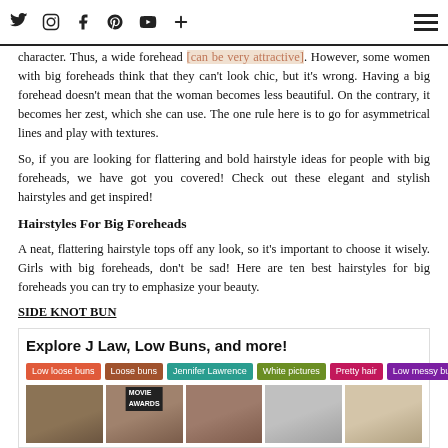Social icons: Twitter, Instagram, Facebook, Pinterest, YouTube, Plus | Hamburger menu
character. Thus, a wide forehead can be very attractive. However, some women with big foreheads think that they can't look chic, but it's wrong. Having a big forehead doesn't mean that the woman becomes less beautiful. On the contrary, it becomes her zest, which she can use. The one rule here is to go for asymmetrical lines and play with textures.
So, if you are looking for flattering and bold hairstyle ideas for people with big foreheads, we have got you covered! Check out these elegant and stylish hairstyles and get inspired!
Hairstyles For Big Foreheads
A neat, flattering hairstyle tops off any look, so it's important to choose it wisely. Girls with big foreheads, don't be sad! Here are ten best hairstyles for big foreheads you can try to emphasize your beauty.
SIDE KNOT BUN
Explore J Law, Low Buns, and more!
Tags: Low loose buns, Loose buns, Jennifer Lawrence, White pictures, Pretty hair, Low messy buns, Weddings
[Figure (photo): Five photos of women with various updo and bun hairstyles, including a movie awards event photo]